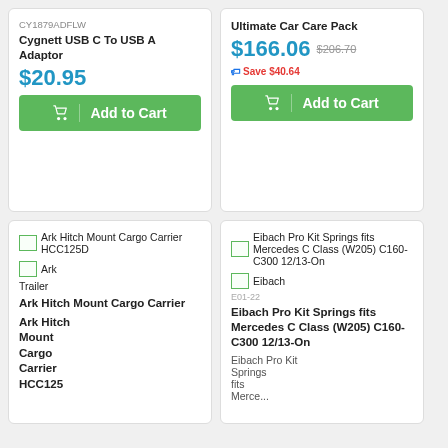[Figure (screenshot): Product card for Cygnett USB C To USB A Adaptor, SKU CY1879ADFLW, price $20.95 with Add to Cart button]
[Figure (screenshot): Product card for Ultimate Car Care Pack, price $166.06, was $206.70, Save $40.64, with Add to Cart button]
[Figure (screenshot): Product card for Ark Hitch Mount Cargo Carrier HCC125D with broken image placeholder]
[Figure (screenshot): Product card for Eibach Pro Kit Springs fits Mercedes C Class (W205) C160-C300 12/13-On with broken image placeholder]